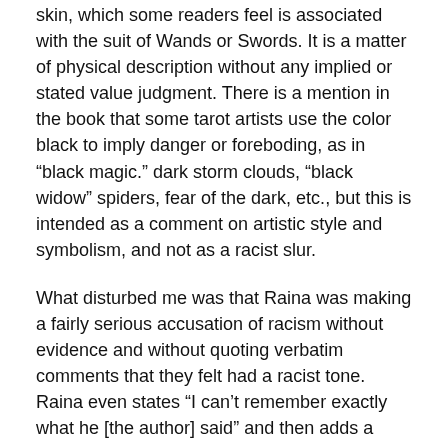skin, which some readers feel is associated with the suit of Wands or Swords. It is a matter of physical description without any implied or stated value judgment. There is a mention in the book that some tarot artists use the color black to imply danger or foreboding, as in "black magic." dark storm clouds, "black widow" spiders, fear of the dark, etc., but this is intended as a comment on artistic style and symbolism, and not as a racist slur.
What disturbed me was that Raina was making a fairly serious accusation of racism without evidence and without quoting verbatim comments that they felt had a racist tone. Raina even states "I can't remember exactly what he [the author] said" and then adds a stereotypical bias of his or her own, "this is such a problem with new age folks!" It seems that Raina either didn't read my book or didn't understand what I had written. Having an ax to grind about